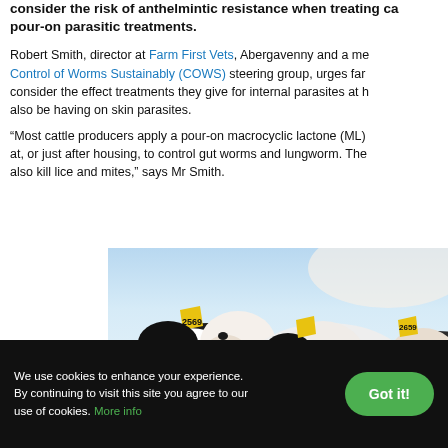consider the risk of anthelmintic resistance when treating ca pour-on parasitic treatments.
Robert Smith, director at Farm First Vets, Abergavenny and a me Control of Worms Sustainably (COWS) steering group, urges far consider the effect treatments they give for internal parasites at h also be having on skin parasites.
“Most cattle producers apply a pour-on macrocyclic lactone (ML) at, or just after housing, to control gut worms and lungworm. The also kill lice and mites,” says Mr Smith.
[Figure (photo): Close-up photo of Holstein dairy cows with yellow ear tags numbered 2569 and 2659, photographed against a blue sky background.]
We use cookies to enhance your experience. By continuing to visit this site you agree to our use of cookies. More info